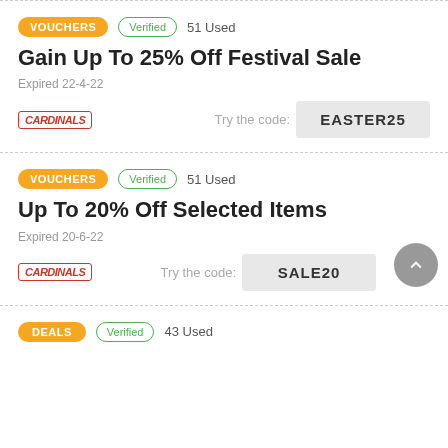VOUCHERS | Verified | 51 Used
Gain Up To 25% Off Festival Sale
Expired 22-4-22
Try the code: EASTER25
VOUCHERS | Verified | 51 Used
Up To 20% Off Selected Items
Expired 20-6-22
Try the code: SALE20
DEALS | Verified | 43 Used